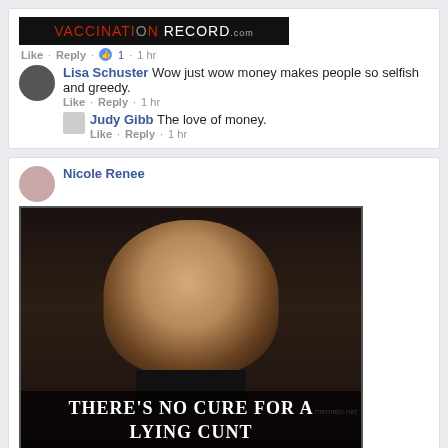[Figure (screenshot): Top card showing vaccination record image, Lisa Schuster comment, and Judy Gibb reply]
[Figure (screenshot): Nicole Renee post with meme: man in suit with text THERE'S NO CURE FOR A LYING CUNT, and Kim Carty reply]
[Figure (screenshot): Josephine Khoury post beginning, Yesterday at 11:19]